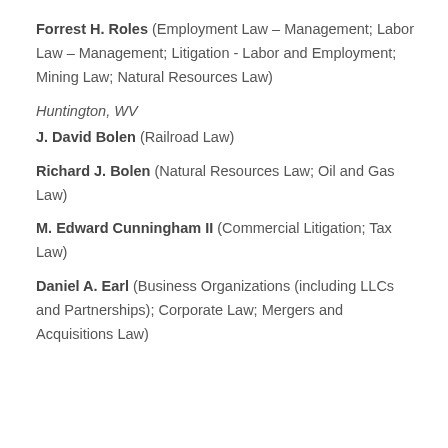Forrest H. Roles (Employment Law – Management; Labor Law – Management; Litigation - Labor and Employment; Mining Law; Natural Resources Law)
Huntington, WV
J. David Bolen (Railroad Law)
Richard J. Bolen (Natural Resources Law; Oil and Gas Law)
M. Edward Cunningham II (Commercial Litigation; Tax Law)
Daniel A. Earl (Business Organizations (including LLCs and Partnerships); Corporate Law; Mergers and Acquisitions Law)